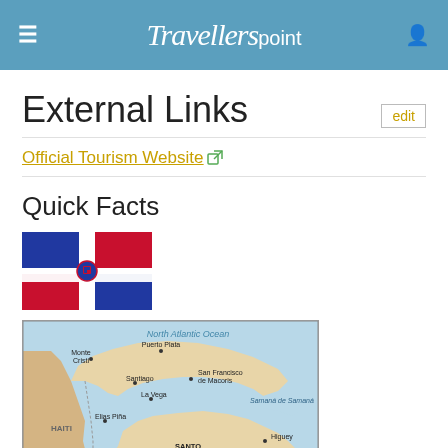Travellerspoint
External Links
Official Tourism Website
Quick Facts
[Figure (illustration): Dominican Republic flag - four rectangles: blue top-left, red top-right, red bottom-left, blue bottom-right, with coat of arms in center]
[Figure (map): Map of Dominican Republic showing cities including Monte Cristi, Puerto Plata, Santiago, San Francisco de Macoris, La Vega, Elias Pina, Santo Domingo, Higuey, Haina, San Pedro de Macoris, La Romana, Barahona, Lago Enriquillo, and the Hispaniola label. Haiti is shown to the west. North Atlantic Ocean labels the water to the north.]